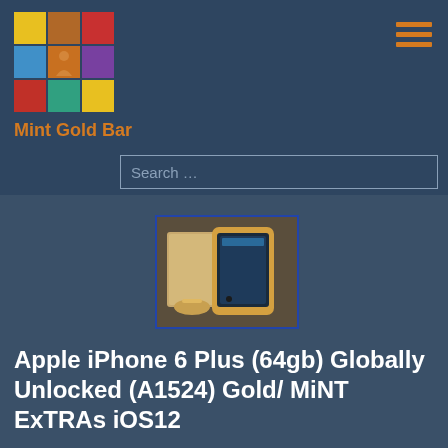[Figure (logo): Mint Gold Bar colorful 3x3 grid logo with orange figure in center]
Mint Gold Bar
[Figure (screenshot): Search input box with placeholder text 'Search ...']
[Figure (photo): Apple iPhone 6 Plus gold color with box and accessories]
Apple iPhone 6 Plus (64gb) Globally Unlocked (A1524) Gold/ MiNT ExTRAs iOS12